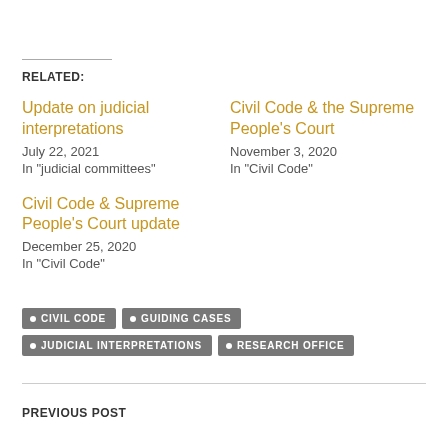RELATED:
Update on judicial interpretations
July 22, 2021
In "judicial committees"
Civil Code & the Supreme People's Court
November 3, 2020
In "Civil Code"
Civil Code & Supreme People's Court update
December 25, 2020
In "Civil Code"
CIVIL CODE
GUIDING CASES
JUDICIAL INTERPRETATIONS
RESEARCH OFFICE
PREVIOUS POST